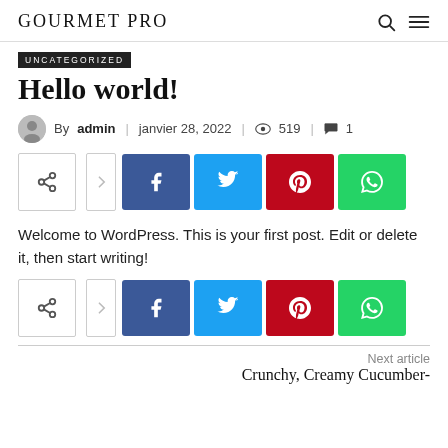GOURMET PRO
UNCATEGORIZED
Hello world!
By admin | janvier 28, 2022 | 519 | 1
[Figure (other): Social share bar with share, arrow, Facebook, Twitter, Pinterest, WhatsApp buttons]
Welcome to WordPress. This is your first post. Edit or delete it, then start writing!
[Figure (other): Second social share bar with share, arrow, Facebook, Twitter, Pinterest, WhatsApp buttons]
Next article
Crunchy, Creamy Cucumber-